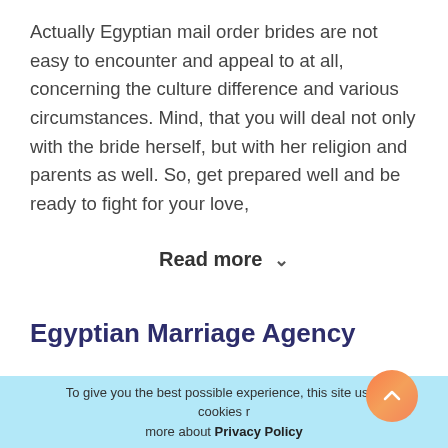Actually Egyptian mail order brides are not easy to encounter and appeal to at all, concerning the culture difference and various circumstances. Mind, that you will deal not only with the bride herself, but with her religion and parents as well. So, get prepared well and be ready to fight for your love,
Read more ▾
Egyptian Marriage Agency
Egyptian brides agencies exist and operate through international or Muslim dating platforms. Pick out
To give you the best possible experience, this site uses cookies r more about Privacy Policy